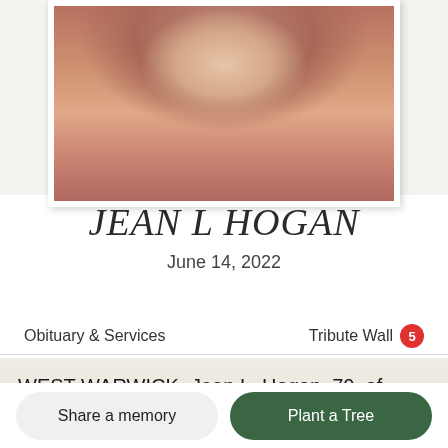[Figure (photo): Partial portrait photo of Jean L. Hogan, showing face and neck area, wearing red top, displayed in a white-bordered frame on a light beige background]
JEAN L HOGAN
June 14, 2022
Obituary & Services
Tribute Wall 5
WEST WARWICK- Jean L. Hogan, 70, of West Warwick, passed away surrounded by the love, comfort, and care of her devoted family on June 14,
Share a memory
Plant a Tree